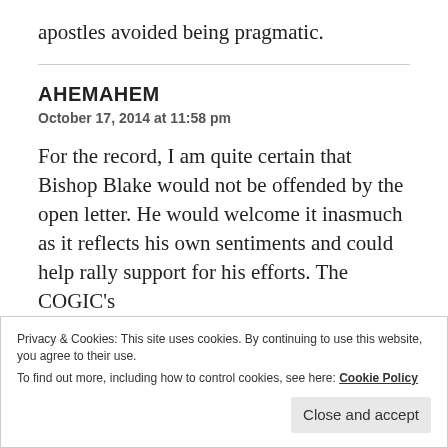apostles avoided being pragmatic.
AHEMAHEM
October 17, 2014 at 11:58 pm
For the record, I am quite certain that Bishop Blake would not be offended by the open letter. He would welcome it inasmuch as it reflects his own sentiments and could help rally support for his efforts. The COGIC's
Privacy & Cookies: This site uses cookies. By continuing to use this website, you agree to their use.
To find out more, including how to control cookies, see here: Cookie Policy
Close and accept